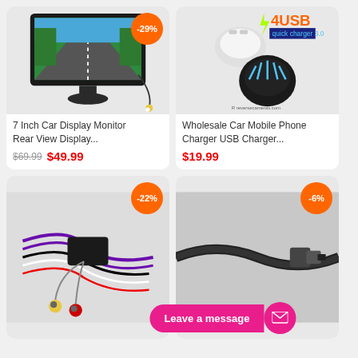[Figure (photo): 7 inch car display monitor with rear view camera connection, black monitor on stand with cable]
7 Inch Car Display Monitor Rear View Display...
$69.99  $49.99
[Figure (photo): Wholesale Car Mobile Phone Charger USB Charger, white and black USB car chargers with 4USB quick charger 3.0 branding]
Wholesale Car Mobile Phone Charger USB Charger...
$19.99
[Figure (photo): Car wiring harness / adapter with purple and black wires and RCA connectors]
[Figure (photo): Car camera cable/connector close-up, black cable on grey background]